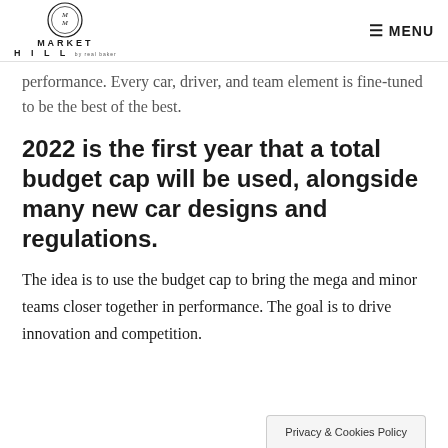MARKET HILL | MENU
performance. Every car, driver, and team element is fine-tuned to be the best of the best.
2022 is the first year that a total budget cap will be used, alongside many new car designs and regulations.
The idea is to use the budget cap to bring the mega and minor teams closer together in performance. The goal is to drive innovation and competition.
Privacy & Cookies Policy